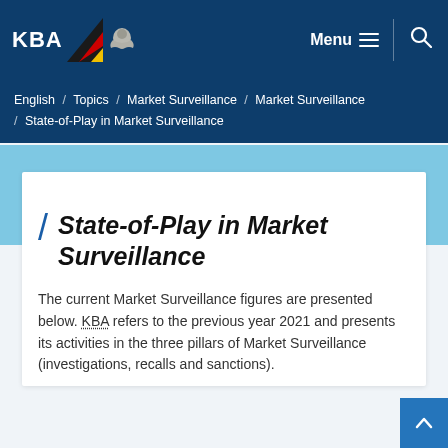KBA | Menu | Search
English / Topics / Market Surveillance / Market Surveillance / State-of-Play in Market Surveillance
State-of-Play in Market Surveillance
The current Market Surveillance figures are presented below. KBA refers to the previous year 2021 and presents its activities in the three pillars of Market Surveillance (investigations, recalls and sanctions).